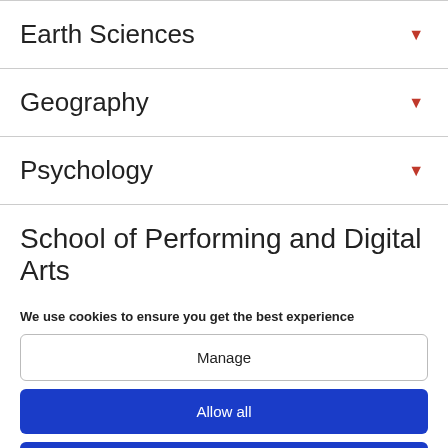Earth Sciences
Geography
Psychology
School of Performing and Digital Arts
We use cookies to ensure you get the best experience
Manage
Allow all
Disable all